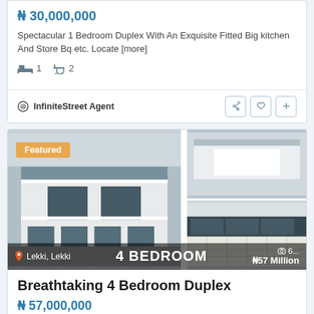₦ 30,000,000
Spectacular 1 Bedroom Duplex With An Exquisite Fitted Big kitchen And Store Bq etc. Locate [more]
1 bed, 2 bath
InfiniteStreet Agent
[Figure (photo): Property listing photo grid showing a 4 bedroom duplex exterior and interior rooms with Featured badge overlay. Location: Lekki, Lekki. 4 Bedroom label and N57 Million price shown.]
Breathtaking 4 Bedroom Duplex
₦ 57,000,000
Breathtaking 4 Bedroom Duplex With An Exquisiti Fitted Big Kitchen And Store Bq etc. Locat [more]